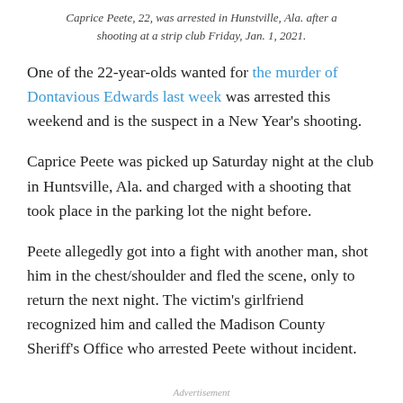Caprice Peete, 22, was arrested in Hunstville, Ala. after a shooting at a strip club Friday, Jan. 1, 2021.
One of the 22-year-olds wanted for the murder of Dontavious Edwards last week was arrested this weekend and is the suspect in a New Year’s shooting.
Caprice Peete was picked up Saturday night at the club in Huntsville, Ala. and charged with a shooting that took place in the parking lot the night before.
Peete allegedly got into a fight with another man, shot him in the chest/shoulder and fled the scene, only to return the next night. The victim’s girlfriend recognized him and called the Madison County Sheriff’s Office who arrested Peete without incident.
Advertisement